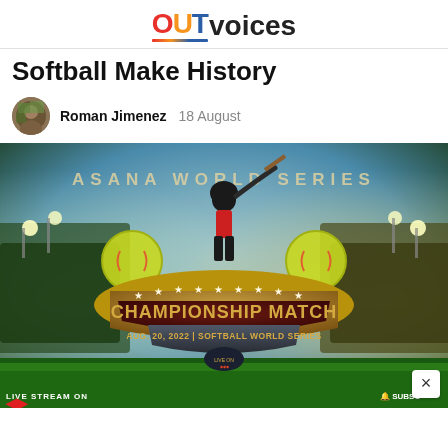OUTvoices
Softball Make History
Roman Jimenez  18 August
[Figure (photo): Championship Match promotional graphic for Softball World Series. Shows a softball batter in action with yellow softballs and bats, stadium lights in background. Text reads 'ASANA WORLD SERIES', 'CHAMPIONSHIP MATCH', 'AUG. 20, 2022 | SOFTBALL WORLD SERIES'. Bottom left says 'LIVE STREAM ON' and bottom right shows 'SUBSC'. A close/X button is in the bottom right corner.]